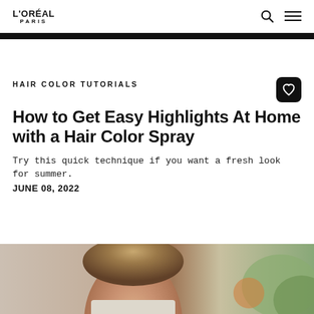L'ORÉAL PARIS
HAIR COLOR TUTORIALS
How to Get Easy Highlights At Home with a Hair Color Spray
Try this quick technique if you want a fresh look for summer.
JUNE 08, 2022
[Figure (photo): Woman smiling with highlighted hair, indoors]